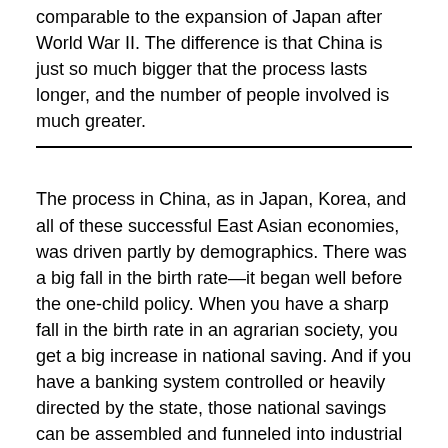comparable to the expansion of Japan after World War II. The difference is that China is just so much bigger that the process lasts longer, and the number of people involved is much greater.
The process in China, as in Japan, Korea, and all of these successful East Asian economies, was driven partly by demographics. There was a big fall in the birth rate—it began well before the one-child policy. When you have a sharp fall in the birth rate in an agrarian society, you get a big increase in national saving. And if you have a banking system controlled or heavily directed by the state, those national savings can be assembled and funneled into industrial development and infrastructure. Germany pioneered that model in the late nineteenth century. The East Asian countries have done the same thing since World War II.
This is a very successful model, but at a certain point, you need to move beyond it and get a more diversified economy. All the evidence we have suggests this is a long, slow, and difficult process. It's not like flipping a switch